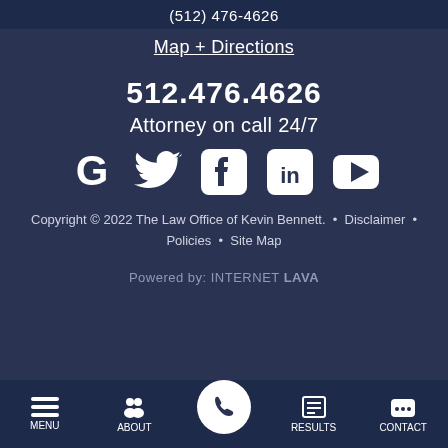(512) 476-4626
Map + Directions
512.476.4626
Attorney on call 24/7
[Figure (other): Social media icons: Google, Twitter, Facebook, LinkedIn, YouTube]
Copyright © 2022 The Law Office of Kevin Bennett.  •  Disclaimer  •  Policies  •  Site Map
Powered by: INTERNET LAVA
MENU   ABOUT   [call button]   RESULTS   CONTACT